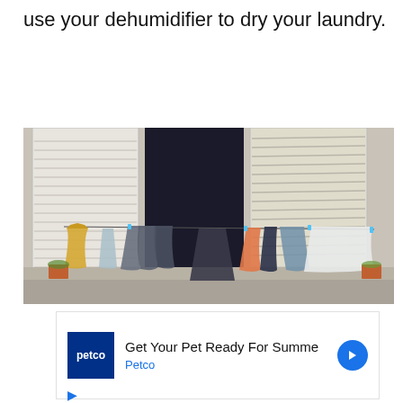use your dehumidifier to dry your laundry.
[Figure (photo): Laundry hanging on a clothesline on a balcony outside a window with shutters. Various garments including a yellow dress, blue jeans, dark tops, an orange top, and a white sheet are visible.]
[Figure (screenshot): Petco advertisement: 'Get Your Pet Ready For Summe' with Petco branding and a blue arrow icon. Contains play and close (X) control icons in blue.]